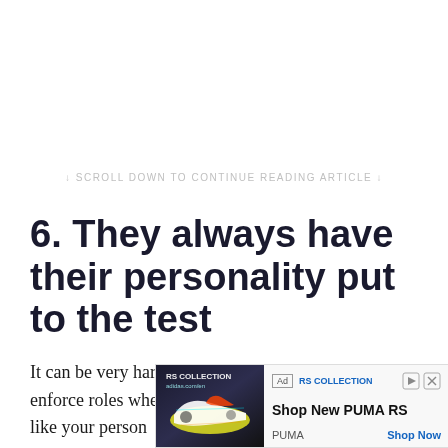↓ SCROLL DOWN TO CONTINUE READING ARTICLE ↓
6. They always have their personality put to the test
It can be very hard to act with righteousness and enforce roles when you are a stepmom. It can feel like your person… e many n…; the
[Figure (other): Advertisement banner for PUMA RS Collection showing a sneaker image, 'Shop New PUMA RS' headline, PUMA brand name, and 'Shop Now' call-to-action button.]